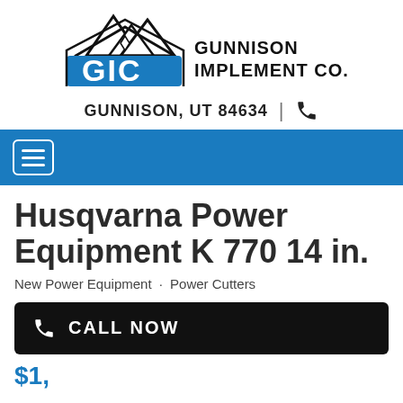[Figure (logo): GIC Gunnison Implement Co. logo with mountain graphic and blue GIC lettering]
GUNNISON, UT 84634 | ☎
[Figure (screenshot): Blue navigation bar with hamburger menu icon]
Husqvarna Power Equipment K 770 14 in.
New Power Equipment · Power Cutters
CALL NOW